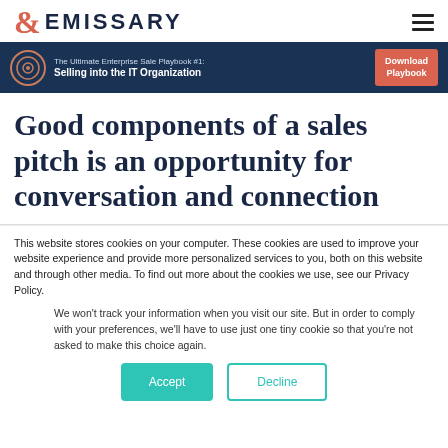& EMISSARY
[Figure (infographic): Banner ad: The Ultimate Enterprise Sale Playbook #1: Selling into the IT Organization. Download Playbook button.]
Good components of a sales pitch is an opportunity for conversation and connection
This website stores cookies on your computer. These cookies are used to improve your website experience and provide more personalized services to you, both on this website and through other media. To find out more about the cookies we use, see our Privacy Policy.
We won't track your information when you visit our site. But in order to comply with your preferences, we'll have to use just one tiny cookie so that you're not asked to make this choice again.
Accept | Decline